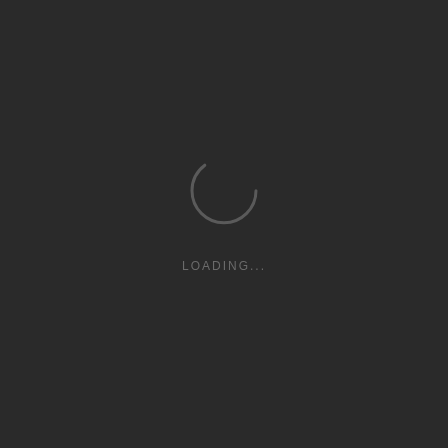[Figure (other): Dark background loading screen with a circular spinner ring and 'LOADING...' text below it]
LOADING...